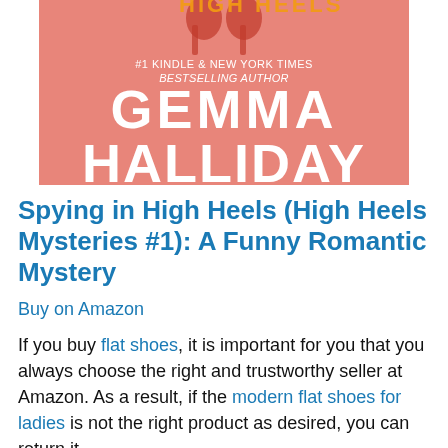[Figure (illustration): Book cover with salmon/pink background showing author name GEMMA HALLIDAY in large white bold text, with text '#1 KINDLE & NEW YORK TIMES BESTSELLING AUTHOR' above and partial high heels logo at top]
Spying in High Heels (High Heels Mysteries #1): A Funny Romantic Mystery
Buy on Amazon
If you buy flat shoes, it is important for you that you always choose the right and trustworthy seller at Amazon. As a result, if the modern flat shoes for ladies is not the right product as desired, you can return it